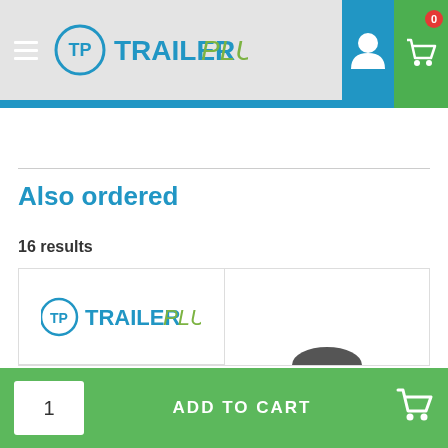TrailerPlus navigation header with logo, user icon, and cart (0 items)
Also ordered
16 results
[Figure (logo): TrailerPlus logo in product card]
ADD TO CART
1